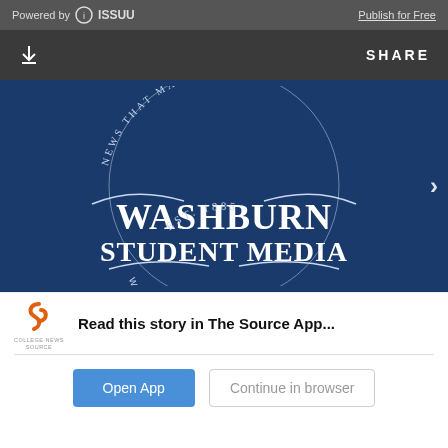Powered by ISSUU   Publish for Free
[Figure (screenshot): Dark toolbar with download icon on left and SHARE text on right]
[Figure (logo): Washburn Student Media logo on dark blue background. Text reads: NEWS THAT MATTERS TO WU / WASHBURN STUDENT MEDIA / EST. 1885 / WASHBURNREVIEW.ORG]
Read this story in The Source App...
Open App
Continue in browser